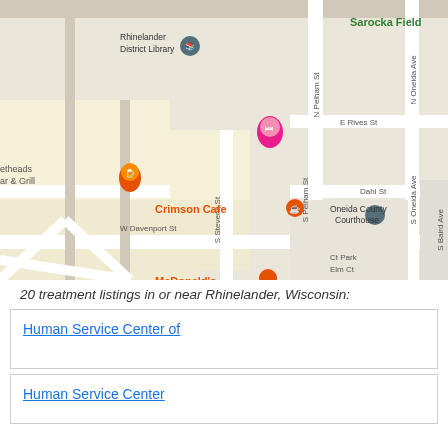[Figure (map): Google Maps view of Rhinelander, Wisconsin showing streets including N Pelham St, N Oneida Ave, S Oneida Ave, S Stevens St, S Pelham St, S Baird Ave, W Davenport St, E Rives St, Dahl St, Elm Ct, Ct Park. Landmarks include Rhinelander District Library, Sarocka Field, Oneida County Courthouse, Crimson Cafe, McDonald's, and a Trading Post.]
20 treatment listings in or near Rhinelander, Wisconsin:
Human Service Center of
Human Service Center